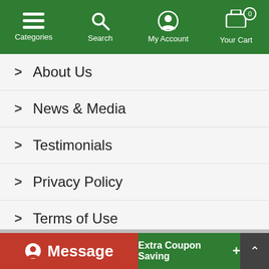Categories | Search | My Account | Your Cart
About Us
News & Media
Testimonials
Privacy Policy
Terms of Use
Blog
Customer Help
My Account
Message
Extra Coupon Saving +